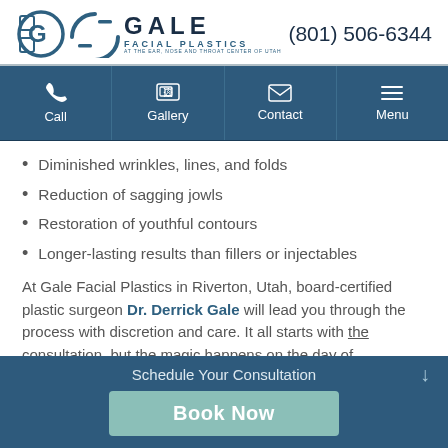[Figure (logo): Gale Facial Plastics logo with circular icon and text]
(801) 506-6344
[Figure (infographic): Navigation bar with Call, Gallery, Contact, Menu icons on dark blue background]
Diminished wrinkles, lines, and folds
Reduction of sagging jowls
Restoration of youthful contours
Longer-lasting results than fillers or injectables
At Gale Facial Plastics in Riverton, Utah, board-certified plastic surgeon Dr. Derrick Gale will lead you through the process with discretion and care. It all starts with the consultation, but the magic happens on the day of
Schedule Your Consultation  Book Now